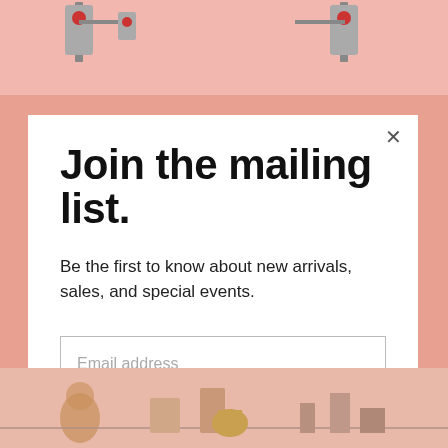[Figure (illustration): Top pink illustrated background showing traffic lights and street scene]
Join the mailing list.
Be the first to know about new arrivals, sales, and special events.
Email address
Subscribe
[Figure (illustration): Bottom illustrated scene with street/urban figures on pink background]